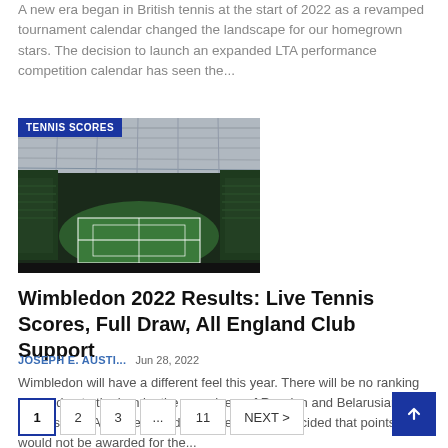A new era began in British tennis at the start of 2022 as a revamped tournament calendar changed the landscape for our homegrown stars. The decision to launch an expanded LTA performance competition calendar has seen the...
[Figure (photo): Interior view of a tennis stadium (Wimbledon Centre Court) with retractable roof, green grass court visible, with blue label badge reading TENNIS SCORES]
Wimbledon 2022 Results: Live Tennis Scores, Full Draw, All England Club Support
JOSEPH E. AUSTI...   Jun 28, 2022
Wimbledon will have a different feel this year. There will be no ranking points due to the ban by the organizers of Russian and Belarusian players. The ATP intervened after the ban and decided that points would not be awarded for the...